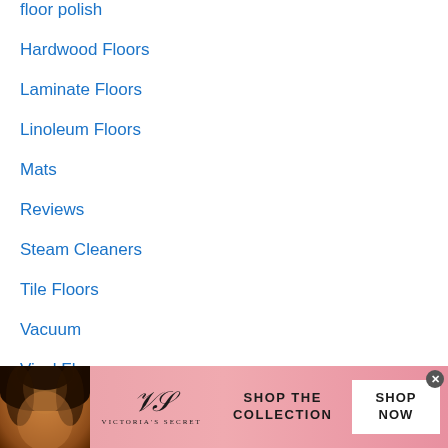floor polish
Hardwood Floors
Laminate Floors
Linoleum Floors
Mats
Reviews
Steam Cleaners
Tile Floors
Vacuum
Vinyl Floors
[Figure (photo): Victoria's Secret advertisement banner with a woman model, VS logo, 'SHOP THE COLLECTION' text, and 'SHOP NOW' button on a pink gradient background]